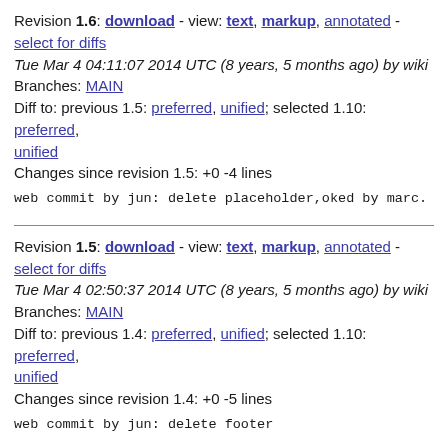Revision 1.6: download - view: text, markup, annotated - select for diffs
Tue Mar 4 04:11:07 2014 UTC (8 years, 5 months ago) by wiki
Branches: MAIN
Diff to: previous 1.5: preferred, unified; selected 1.10: preferred, unified
Changes since revision 1.5: +0 -4 lines
web commit by jun: delete placeholder,oked by marc.
Revision 1.5: download - view: text, markup, annotated - select for diffs
Tue Mar 4 02:50:37 2014 UTC (8 years, 5 months ago) by wiki
Branches: MAIN
Diff to: previous 1.4: preferred, unified; selected 1.10: preferred, unified
Changes since revision 1.4: +0 -5 lines
web commit by jun: delete footer
Revision 1.4: download - view: text, markup, annotated - select for diffs
Tue Mar 4 02:48:59 2014 UTC (8 years, 5 months ago) by wiki
Branches: MAIN
Diff to: previous 1.3: preferred, unified; selected 1.10: preferred,